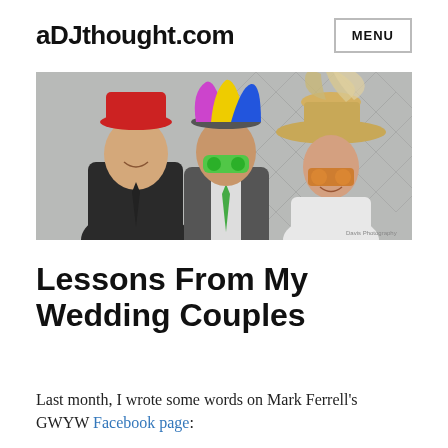aDJthought.com
[Figure (photo): Three people in a photo booth wearing funny hats and props: one man in a suit with a red hat, one man with colorful jester hat and green glasses wearing a green tie, and a woman with a large straw hat and orange sunglasses.]
Lessons From My Wedding Couples
Last month, I wrote some words on Mark Ferrell's GWYW Facebook page: